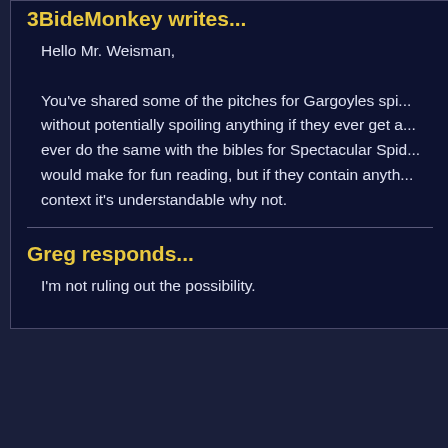3BideMonkey writes...
Hello Mr. Weisman,

You've shared some of the pitches for Gargoyles spi... without potentially spoiling anything if they ever get a... ever do the same with the bibles for Spectacular Spid... would make for fun reading, but if they contain anyth... context it's understandable why not.
Greg responds...
I'm not ruling out the possibility.
Displaying #2 - #11 of 268 records.
Gargoyles and all related characters and elements are trademarks of an... Walt Disney Company. This web site is in no way affiliated with Buena V... views expressed within this web site do not reflect those of The Walt Di... copyright infringement is intended.